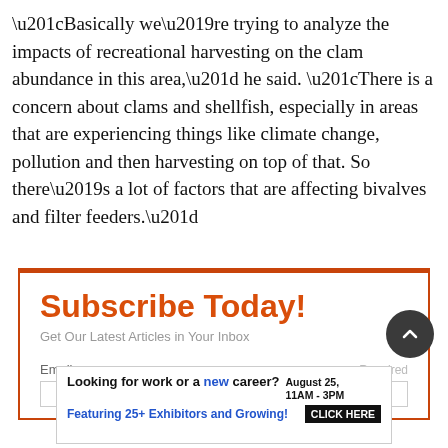“Basically we’re trying to analyze the impacts of recreational harvesting on the clam abundance in this area,” he said. “There is a concern about clams and shellfish, especially in areas that are experiencing things like climate change, pollution and then harvesting on top of that. So there’s a lot of factors that are affecting bivalves and filter feeders.”
[Figure (other): Subscribe Today! newsletter signup box with email input field. Header reads 'Subscribe Today!' in orange, subtitle 'Get Our Latest Articles in Your Inbox', Email label with Required indicator, and an empty input field.]
[Figure (other): Advertisement banner: 'Looking for work or a new career? August 25, 11AM-3PM Featuring 25+ Exhibitors and Growing! CLICK HERE']